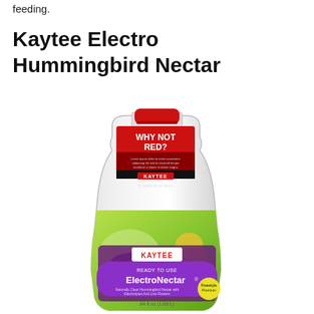feeding.
Kaytee Electro Hummingbird Nectar
[Figure (photo): Product photo of Kaytee ElectroNectar Hummingbird Nectar bottle. A clear plastic bottle with a red cap and a tag on the neck reading 'WHY NOT RED?' and Kaytee branding. The label shows a hummingbird, flowers, KAYTEE logo, 'READY TO USE', 'Hummingbird ElectroNectar', and '64 fl oz (1.89 L)'.]